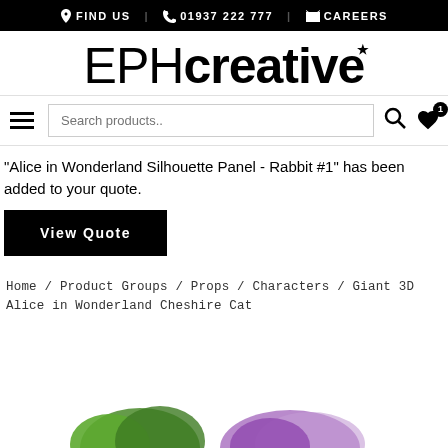FIND US | 01937 222 777 | CAREERS
[Figure (logo): EPH creative logo with star above the letter i in creative]
Search products..
"Alice in Wonderland Silhouette Panel - Rabbit #1" has been added to your quote.
View Quote
Home / Product Groups / Props / Characters / Giant 3D Alice in Wonderland Cheshire Cat
[Figure (photo): Partial product image at the bottom of the page showing colorful decorative props]